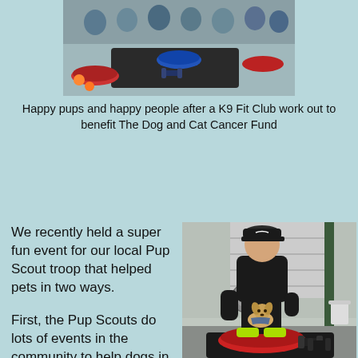[Figure (photo): Group photo of people and dogs after a K9 Fit Club workout, with colorful balance discs on the floor]
Happy pups and happy people after a K9 Fit Club work out to benefit The Dog and Cat Cancer Fund
We recently held a super fun event for our local Pup Scout troop that helped pets in two ways.
First, the Pup Scouts do lots of events in the community to help dogs in need, so we held a benefit K9 Fit Club class to help pets in
[Figure (photo): A man in a black cap and dark clothes doing a squat exercise while a small puppy sits on a red balance disc in front of him in a gym setting]